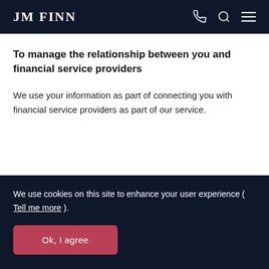JM FINN
To manage the relationship between you and financial service providers
We use your information as part of connecting you with financial service providers as part of our service.
We use cookies on this site to enhance your user experience ( Tell me more ).
Ok, I agree